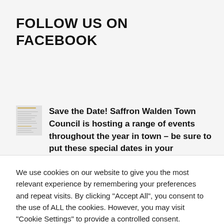FOLLOW US ON FACEBOOK
[Figure (screenshot): Thumbnail image of a document/post preview with lines of text and a gold colored bar]
Save the Date! Saffron Walden Town Council is hosting a range of events throughout the year in town – be sure to put these special dates in your
We use cookies on our website to give you the most relevant experience by remembering your preferences and repeat visits. By clicking "Accept All", you consent to the use of ALL the cookies. However, you may visit "Cookie Settings" to provide a controlled consent.
Cookie Settings   Accept All